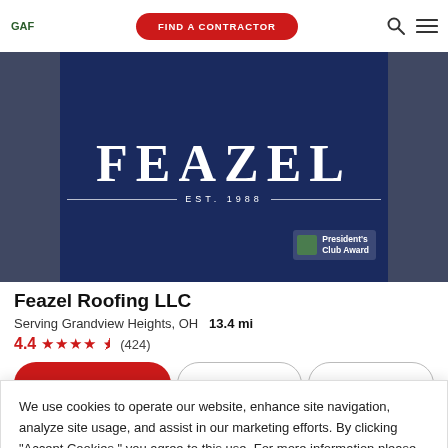[Figure (screenshot): GAF website header with navigation bar showing GAF logo, FIND A CONTRACTOR red pill button, search icon, and hamburger menu icon]
[Figure (photo): Feazel Roofing LLC hero banner with dark blue background showing FEAZEL EST. 1988 logo in white text with gray sidebars and a President's Club Award badge in bottom right]
Feazel Roofing LLC
Serving Grandview Heights, OH   13.4 mi
4.4 ★★★★★½ (424)
We use cookies to operate our website, enhance site navigation, analyze site usage, and assist in our marketing efforts. By clicking "Accept Cookies," you agree to this use. For more information please visit our Cookie Notice.
Cookie Preferences
Accept Cookies